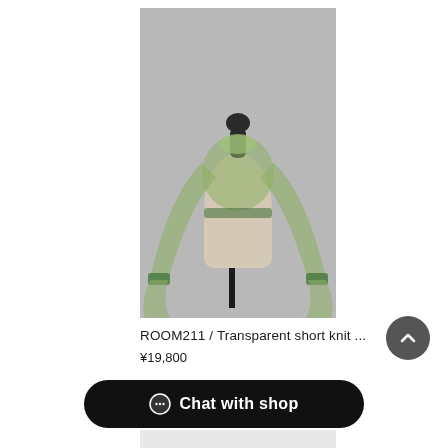[Figure (photo): A mannequin torso wearing a transparent light green/sage short knit top with wide flared sleeves and ribbed cuffs, photographed against a grey background.]
ROOM211 / Transparent short knit ...
¥19,800
Chat with shop